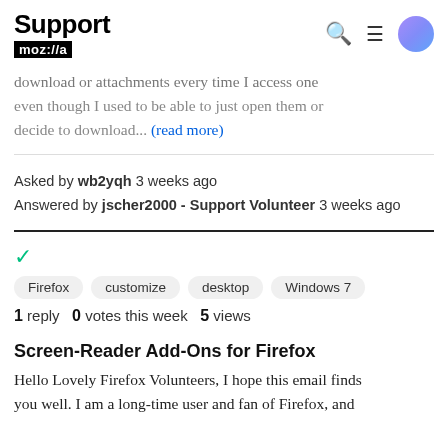Support mozilla// [search] [menu] [user icon]
download or attachments every time I access one even though I used to be able to just open them or decide to download... (read more)
Asked by wb2yqh 3 weeks ago
Answered by jscher2000 - Support Volunteer 3 weeks ago
[Figure (other): Green checkmark icon]
Firefox
customize
desktop
Windows 7
1 reply  0 votes this week  5 views
Screen-Reader Add-Ons for Firefox
Hello Lovely Firefox Volunteers, I hope this email finds you well. I am a long-time user and fan of Firefox, and